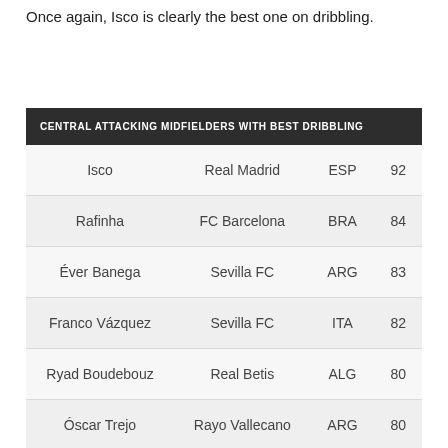Once again, Isco is clearly the best one on dribbling.
| CENTRAL ATTACKING MIDFIELDERS WITH BEST DRIBBLING |
| --- |
| Isco | Real Madrid | ESP | 92 |
| Rafinha | FC Barcelona | BRA | 84 |
| Éver Banega | Sevilla FC | ARG | 83 |
| Franco Vázquez | Sevilla FC | ITA | 82 |
| Ryad Boudebouz | Real Betis | ALG | 80 |
| Óscar Trejo | Rayo Vallecano | ARG | 80 |
| Pablo Fornals | Villarreal CF | ESP | 79 |